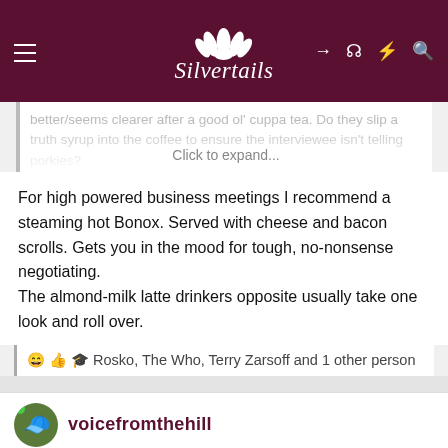Silvertails
better/seems clearer after a good ol' cuppa tea. Do they slip a truth syrup into the coffee to ensure the interviewee isn't telling porkies? And why do "clandestine" meetings occur in coffee shops... Click to expand...
For high powered business meetings I recommend a steaming hot Bonox. Served with cheese and bacon scrolls. Gets you in the mood for tough, no-nonsense negotiating.
The almond-milk latte drinkers opposite usually take one look and roll over.
😄 👍 🎓 Rosko, The Who, Terry Zarsoff and 1 other person
voicefromthehill
This site uses cookies to help personalise content, tailor your experience and to keep you logged in if you register.
By continuing to use this site, you are consenting to our use of cookies. ✕
[Figure (screenshot): BitLife advertisement banner - NOW WITH GOD MODE]